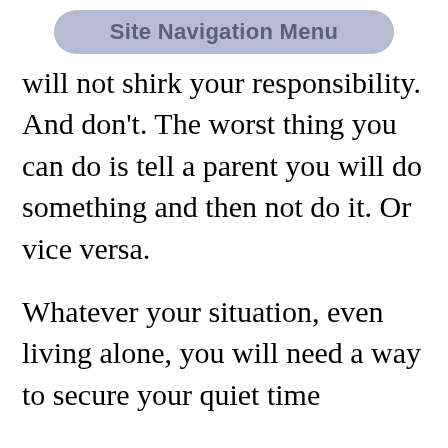Site Navigation Menu
will not shirk your responsibility. And don't. The worst thing you can do is tell a parent you will do something and then not do it. Or vice versa.
Whatever your situation, even living alone, you will need a way to secure your quiet time